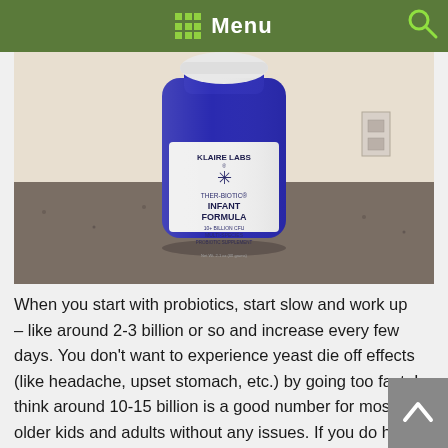Menu
[Figure (photo): A blue glass bottle of Klaire Labs Ther-Biotic Infant Formula probiotic supplement (10+ Billion CFU, Multi-Species Probiotic Supplement) sitting on a granite countertop.]
When you start with probiotics, start slow and work up – like around 2-3 billion or so and increase every few days. You don't want to experience yeast die off effects (like headache, upset stomach, etc.) by going too fast. I think around 10-15 billion is a good number for most older kids and adults without any issues. If you do have issues, you can go higher. Talk with a holistic doctor. I take Klaire's for Women which is